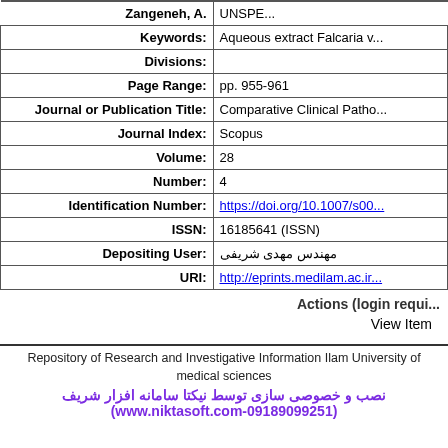|  |  |
| --- | --- |
| Zangeneh, A. | UNSPE... |
| Keywords: | Aqueous extract Falcaria v... |
| Divisions: |  |
| Page Range: | pp. 955-961 |
| Journal or Publication Title: | Comparative Clinical Patho... |
| Journal Index: | Scopus |
| Volume: | 28 |
| Number: | 4 |
| Identification Number: | https://doi.org/10.1007/s00... |
| ISSN: | 16185641 (ISSN) |
| Depositing User: | مهندس مهدی شریفی |
| URI: | http://eprints.medilam.ac.ir... |
Actions (login requi...
View Item
Repository of Research and Investigative Information Ilam University of medical sciences
نصب و خصوصی سازی توسط نیکتا سامانه افزار شریف (www.niktasoft.com-09189099251)